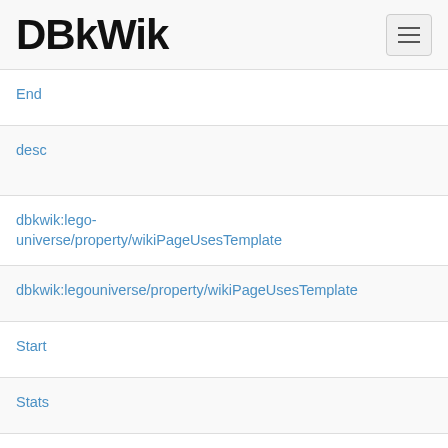DBkWik
| Property | Value |
| --- | --- |
| End | Vance B… |
| desc | Interact… Block Y… |
| dbkwik:lego-universe/property/wikiPageUsesTemplate | dbkwik:r… |
| dbkwik:legouniverse/property/wikiPageUsesTemplate | dbkwik:r… |
| Start | Vance B… |
| Stats | None |
| Ending Text | "Are yo… Propert… models… |